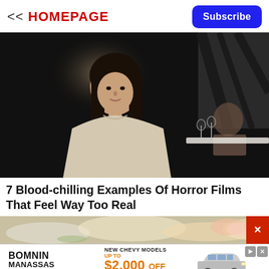<< HOMEPAGE
Subscribe
[Figure (photo): A young Asian woman in a cream-colored blouse sitting at a restaurant table, with a dimly lit background showing stairs and another diner in the background.]
7 Blood-chilling Examples Of Horror Films That Feel Way Too Real
[Figure (photo): Partial view of food on a plate, blurred/cropped at bottom of page with a red X close button overlay.]
[Figure (infographic): Advertisement for Bomnin Manassas Chevrolet: New Chevy Models Up To $2,000 Off MSRP. Check Inventory.]